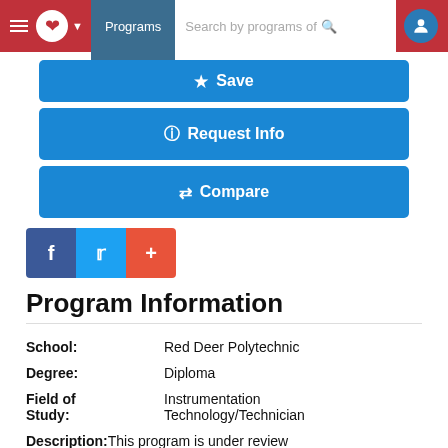[Figure (screenshot): Website navigation bar with hamburger menu, maple leaf logo, Programs button, search bar, and user icon on red background]
[Figure (screenshot): Save button (blue)]
[Figure (screenshot): Request Info button (blue)]
[Figure (screenshot): Compare button (blue)]
[Figure (screenshot): Social sharing buttons: Facebook (dark blue), Twitter (light blue), Plus/share (red-orange)]
Program Information
| Field | Value |
| --- | --- |
| School: | Red Deer Polytechnic |
| Degree: | Diploma |
| Field of Study: | Instrumentation Technology/Technician |
| Description: | This program is under review |